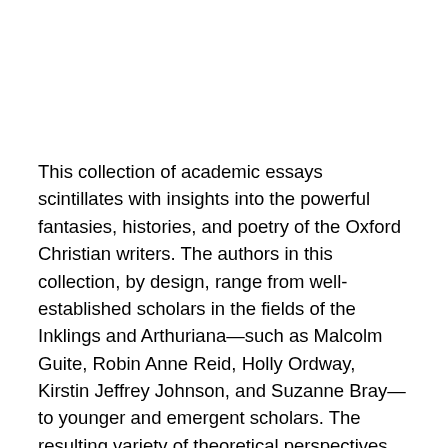This collection of academic essays scintillates with insights into the powerful fantasies, histories, and poetry of the Oxford Christian writers. The authors in this collection, by design, range from well-established scholars in the fields of the Inklings and Arthuriana—such as Malcolm Guite, Robin Anne Reid, Holly Ordway, Kirstin Jeffrey Johnson, and Suzanne Bray—to younger and emergent scholars. The resulting variety of theoretical perspectives makes this a thorough, well-rounded volume. Issues of gender, sexuality, race, linguistics, geo-political impressionism, theological concerns, and historical associations